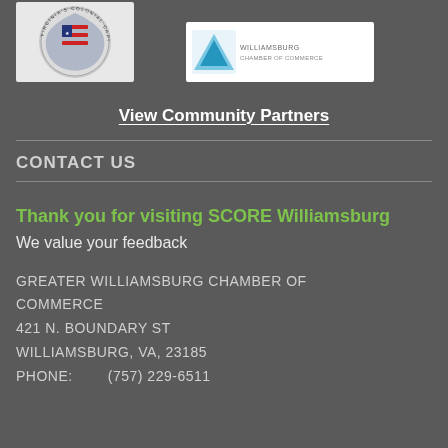[Figure (logo): Virginia's Colonial Capital seal logo on light gray background]
[Figure (logo): Greater Williamsburg Chamber of Commerce logo on white background]
View Community Partners
CONTACT US
Thank you for visiting SCORE Williamsburg
We value your feedback
GREATER WILLIAMSBURG CHAMBER OF COMMERCE
421 N. BOUNDARY ST
WILLIAMSBURG, VA, 23185
PHONE:        (757) 229-6511